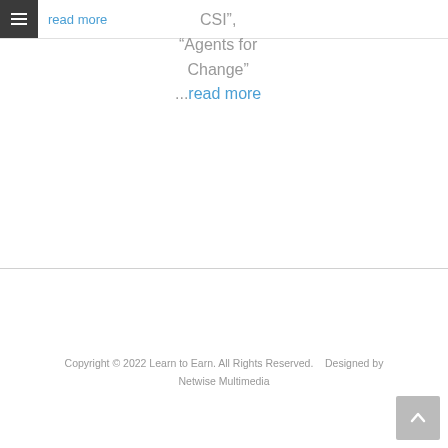read more
CSI", “Agents for Change” ...read more
Copyright © 2022 Learn to Earn. All Rights Reserved.    Designed by Netwise Multimedia